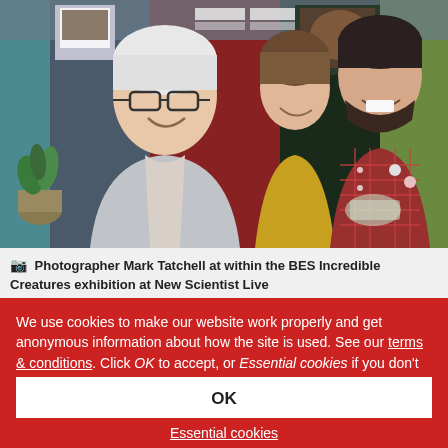[Figure (photo): Three people laughing and conversing at an indoor exhibition. An older man with white hair and glasses in a light sweater is in the foreground, a woman in a yellow top is in the middle, and a young man with a beard wearing a red plaid shirt holds something in his hand. Exhibition posters and a dark display board are visible in the background.]
Photographer Mark Tatchell at within the BES Incredible Creatures exhibition at New Scientist Live
We use cookies to make our website work properly and get anonymous information about how the site is used. See our terms & conditions. Click OK to accept, or Essential cookies if you don't want us to have this anonymous data.
OK
Essential cookies